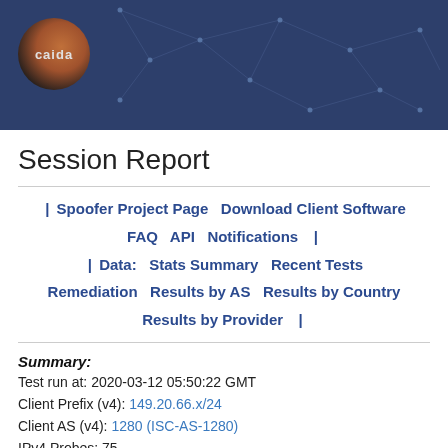[Figure (logo): CAIDA logo and network graph header banner with dark blue background]
Session Report
| Spoofer Project Page   Download Client Software   FAQ   API   Notifications   | | Data:   Stats Summary   Recent Tests   Remediation   Results by AS   Results by Country   Results by Provider   |
Summary:
Test run at: 2020-03-12 05:50:22 GMT
Client Prefix (v4): 149.20.66.x/24
Client AS (v4): 1280 (ISC-AS-1280)
IPv4 Probes: 75